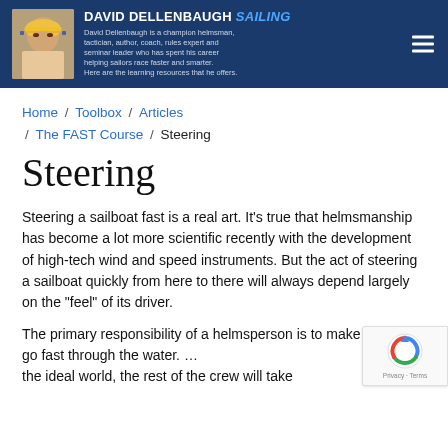DAVID DELLENBAUGH SAILING — David Dellenbaugh is a champion helmsman, tactician, author, coach, rules expert and seminar leader who has spent his career helping sailors race faster and smarter. Here are the learning resources that he offers.
Home / Toolbox / Articles / The FAST Course / Steering
Steering
Steering a sailboat fast is a real art. It's true that helmsmanship has become a lot more scientific recently with the development of high-tech wind and speed instruments. But the act of steering a sailboat quickly from here to there will always depend largely on the "feel" of its driver.
The primary responsibility of a helmsperson is to make the boat go fast through the water. In the ideal world, the rest of the crew will take